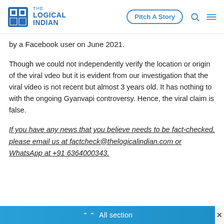The Logical Indian | Pitch A Story
by a Facebook user on June 2021.
Though we could not independently verify the location or origin of the viral vdeo but it is evident from our investigation that the viral video is not recent but almost 3 years old. It has nothing to with the ongoing Gyanvapi controversy. Hence, the viral claim is false.
If you have any news that you believe needs to be fact-checked, please email us at factcheck@thelogicalindian.com or WhatsApp at +91 6364000343.
All section